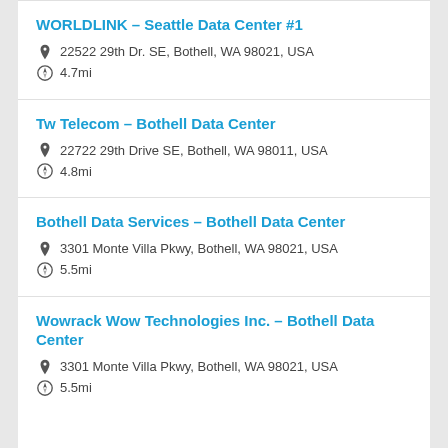WORLDLINK – Seattle Data Center #1
22522 29th Dr. SE, Bothell, WA 98021, USA
4.7mi
Tw Telecom – Bothell Data Center
22722 29th Drive SE, Bothell, WA 98011, USA
4.8mi
Bothell Data Services – Bothell Data Center
3301 Monte Villa Pkwy, Bothell, WA 98021, USA
5.5mi
Wowrack Wow Technologies Inc. – Bothell Data Center
3301 Monte Villa Pkwy, Bothell, WA 98021, USA
5.5mi